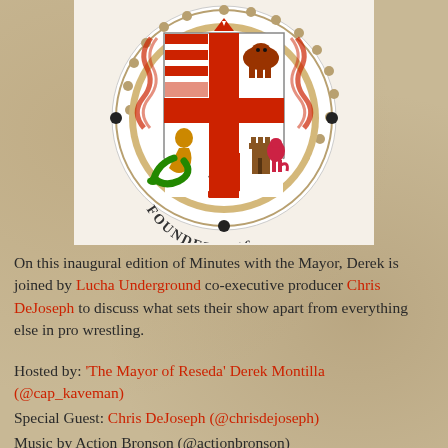[Figure (logo): City seal/coat of arms logo with heraldic shield showing red and white stripes, bear, serpent/man figure, tower, lion, surrounded by dotted border circle with text FOUNDED 2016]
On this inaugural edition of Minutes with the Mayor, Derek is joined by Lucha Underground co-executive producer Chris DeJoseph to discuss what sets their show apart from everything else in pro wrestling.
Hosted by: 'The Mayor of Reseda' Derek Montilla (@cap_kaveman)
Special Guest: Chris DeJoseph (@chrisdejoseph)
Music by Action Bronson (@actionbronson)